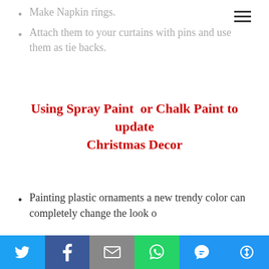Make Napkin rings.
Attach them to your curtains with pins and use them as tie backs.
Using Spray Paint  or Chalk Paint to update Christmas Decor
Painting plastic ornaments a new trendy color can completely change the look o…
[Figure (other): Social sharing bar with Twitter, Facebook, Email, WhatsApp, SMS, and More buttons]